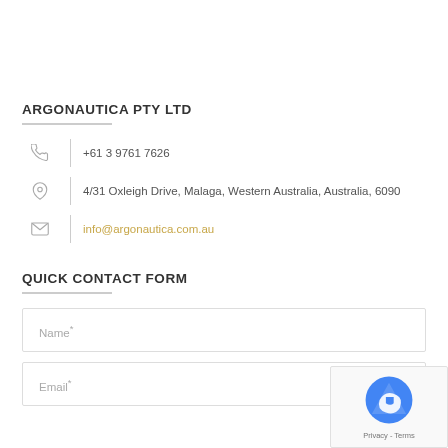ARGONAUTICA PTY LTD
+61 3 9761 7626
4/31 Oxleigh Drive, Malaga, Western Australia, Australia, 6090
info@argonautica.com.au
QUICK CONTACT FORM
Name*
Email*